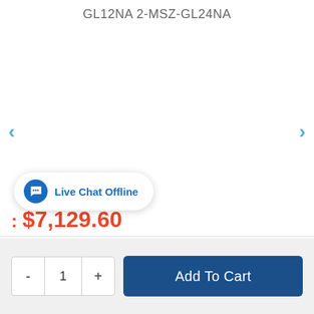GL12NA 2-MSZ-GL24NA
[Figure (screenshot): Product image carousel area with left and right navigation arrows, currently showing blank/white image area]
: $7,129.60
[Figure (other): Live Chat Offline widget button with chat bubble icon]
- 1 + Add To Cart